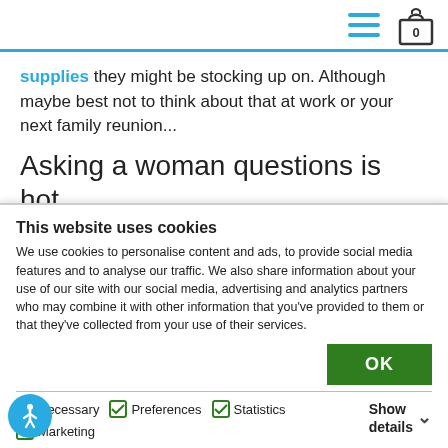[Navigation bar with hamburger menu and cart icon showing 0]
supplies they might be stocking up on. Although maybe best not to think about that at work or your next family reunion...
Asking a woman questions is hot.
This website uses cookies
We use cookies to personalise content and ads, to provide social media features and to analyse our traffic. We also share information about your use of our site with our social media, advertising and analytics partners who may combine it with other information that you've provided to them or that they've collected from your use of their services.
OK
Necessary  Preferences  Statistics  Marketing  Show details